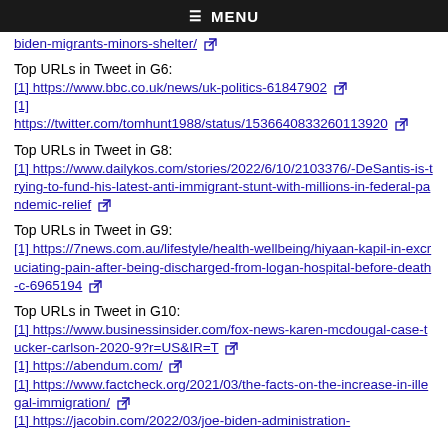≡ MENU
biden-migrants-minors-shelter/ [external link]
Top URLs in Tweet in G6:
[1] https://www.bbc.co.uk/news/uk-politics-61847902 [external link]
[1] https://twitter.com/tomhunt1988/status/1536640833260113920 [external link]
Top URLs in Tweet in G8:
[1] https://www.dailykos.com/stories/2022/6/10/2103376/-DeSantis-is-trying-to-fund-his-latest-anti-immigrant-stunt-with-millions-in-federal-pandemic-relief [external link]
Top URLs in Tweet in G9:
[1] https://7news.com.au/lifestyle/health-wellbeing/hiyaan-kapil-in-excruciating-pain-after-being-discharged-from-logan-hospital-before-death-c-6965194 [external link]
Top URLs in Tweet in G10:
[1] https://www.businessinsider.com/fox-news-karen-mcdougal-case-tucker-carlson-2020-9?r=US&IR=T [external link]
[1] https://abendum.com/ [external link]
[1] https://www.factcheck.org/2021/03/the-facts-on-the-increase-in-illegal-immigration/ [external link]
[1] https://jacobin.com/2022/03/joe-biden-administration-